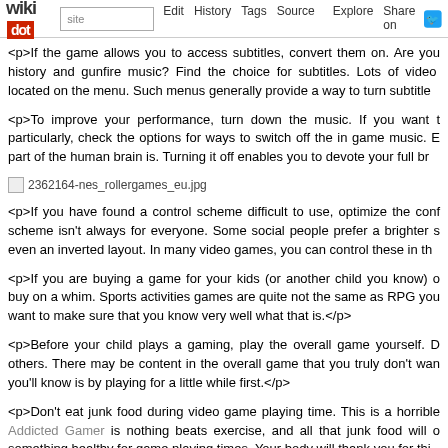wikidot | site | Edit | History | Tags | Source | Explore | Share on Twitter
<p>If the game allows you to access subtitles, convert them on. Are you history and gunfire music? Find the choice for subtitles. Lots of video located on the menu. Such menus generally provide a way to turn subtitle
<p>To improve your performance, turn down the music. If you want t particularly, check the options for ways to switch off the in game music. E part of the human brain is. Turning it off enables you to devote your full br
[Figure (other): Image placeholder: 2362164-nes_rollergames_eu.jpg]
<p>If you have found a control scheme difficult to use, optimize the conf scheme isn't always for everyone. Some social people prefer a brighter s even an inverted layout. In many video games, you can control these in th
<p>If you are buying a game for your kids (or another child you know) buy on a whim. Sports activities games are quite not the same as RPG you want to make sure that you know very well what that is.</p>
<p>Before your child plays a gaming, play the overall game yourself. D others. There may be content in the overall game that you truly don't wan you'll know is by playing for a little while first.</p>
<p>Don't eat junk food during video game playing time. This is a horrible Addicted Gamer is nothing beats exercise, and all that junk food will o something healthy for game playing times. Your body will thank you for thi
<p>As a parent, it is necessary to remember that children do not hav Without parental intervention, kids can (and will) play video games for ma monitor the quantity of time your son or daughter can play their games.